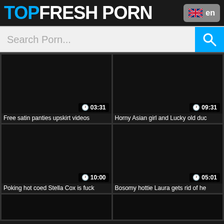TOPFRESH PORN
Search Porn...
[Figure (screenshot): Video thumbnail placeholder, dark/black, duration 03:31]
Free satin panties upskirt videos
[Figure (screenshot): Video thumbnail placeholder, dark/black, duration 09:31]
Horny Asian girl and Lucky old duc
[Figure (screenshot): Video thumbnail placeholder, dark/black, duration 10:00]
Poking hot coed Stella Cox is fuck
[Figure (screenshot): Video thumbnail placeholder, dark/black, duration 05:01]
Bosomy hottie Laura gets rid of he
[Figure (screenshot): Video thumbnail placeholder, dark/black, partial]
[Figure (screenshot): Video thumbnail placeholder, dark/black, partial]